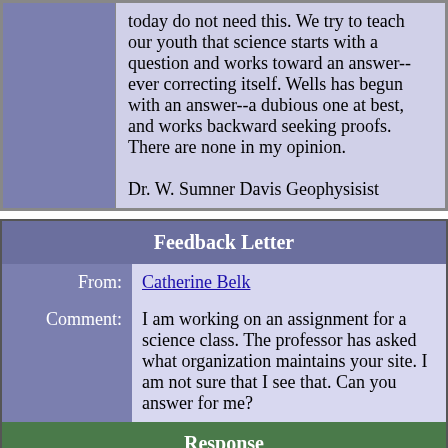|  | today do not need this. We try to teach our youth that science starts with a question and works toward an answer--ever correcting itself. Wells has begun with an answer--a dubious one at best, and works backward seeking proofs. There are none in my opinion.

Dr. W. Sumner Davis Geophysisist |
| Feedback Letter |
| --- |
| From: | Catherine Belk |
| Comment: | I am working on an assignment for a science class. The professor has asked what organization maintains your site. I am not sure that I see that. Can you answer for me? |
| Response |  |
| From: | Mark Isaak |